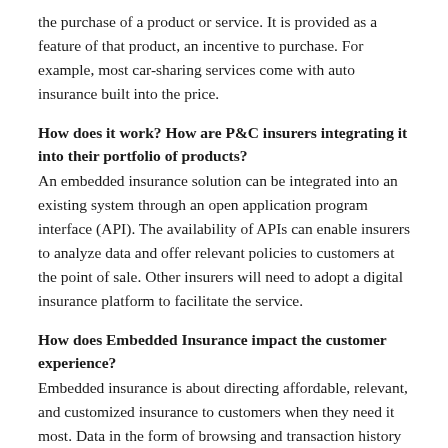the purchase of a product or service. It is provided as a feature of that product, an incentive to purchase. For example, most car-sharing services come with auto insurance built into the price.
How does it work? How are P&C insurers integrating it into their portfolio of products?
An embedded insurance solution can be integrated into an existing system through an open application program interface (API). The availability of APIs can enable insurers to analyze data and offer relevant policies to customers at the point of sale. Other insurers will need to adopt a digital insurance platform to facilitate the service.
How does Embedded Insurance impact the customer experience?
Embedded insurance is about directing affordable, relevant, and customized insurance to customers when they need it most. Data in the form of browsing and transaction history can provide an accurate profile of the customer in order to streamline underwriting and create the basis for appropriate coverage.
How embedded insurance questions define the right climate for their...